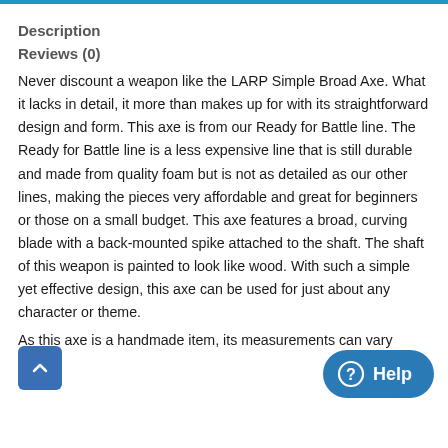Description
Reviews (0)
Never discount a weapon like the LARP Simple Broad Axe. What it lacks in detail, it more than makes up for with its straightforward design and form. This axe is from our Ready for Battle line. The Ready for Battle line is a less expensive line that is still durable and made from quality foam but is not as detailed as our other lines, making the pieces very affordable and great for beginners or those on a small budget. This axe features a broad, curving blade with a back-mounted spike attached to the shaft. The shaft of this weapon is painted to look like wood. With such a simple yet effective design, this axe can be used for just about any character or theme.
As this axe is a handmade item, its measurements can vary